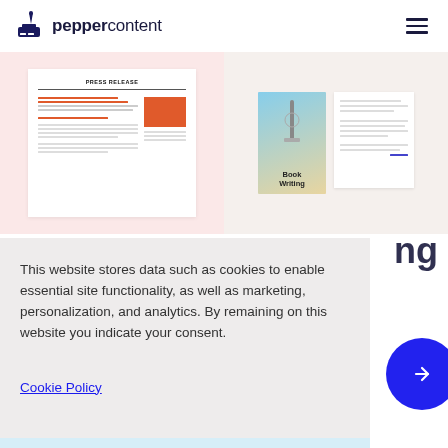peppercontent
[Figure (illustration): Press release document mockup illustration with orange text lines and rectangle on pink background]
[Figure (illustration): Book Writing mockup showing a book cover with tower illustration and text pages, on beige background]
This website stores data such as cookies to enable essential site functionality, as well as marketing, personalization, and analytics. By remaining on this website you indicate your consent.
Cookie Policy